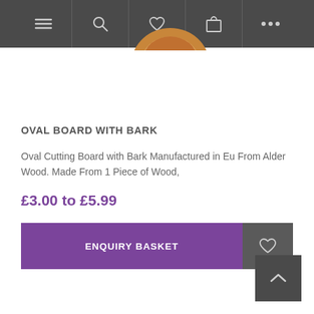Navigation bar with menu, search, heart, basket, and more icons
[Figure (photo): Partial view of an oval wooden cutting board with bark edge, visible at top center of page]
OVAL BOARD WITH BARK
Oval Cutting Board with Bark Manufactured in Eu From Alder Wood. Made From 1 Piece of Wood,
£3.00 to £5.99
ENQUIRY BASKET